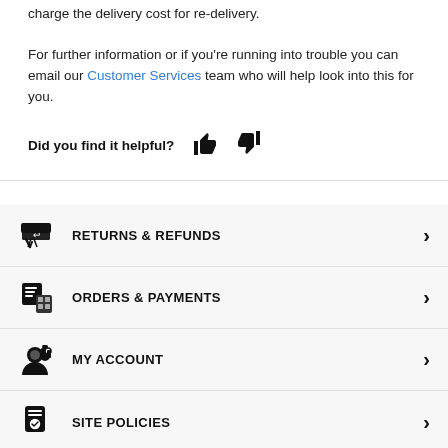charge the delivery cost for re-delivery.

For further information or if you're running into trouble you can email our Customer Services team who will help look into this for you.
Did you find it helpful?
RETURNS & REFUNDS
ORDERS & PAYMENTS
MY ACCOUNT
SITE POLICIES